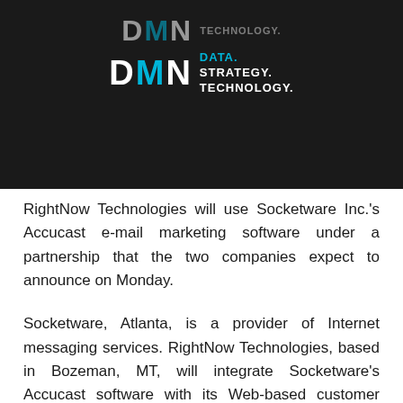[Figure (logo): DMN logo on dark background showing stylized 'DMN' letters with cyan accent, tagline 'DATA. STRATEGY. TECHNOLOGY.' in white text]
RightNow Technologies will use Socketware Inc.'s Accucast e-mail marketing software under a partnership that the two companies expect to announce on Monday.
Socketware, Atlanta, is a provider of Internet messaging services. RightNow Technologies, based in Bozeman, MT, will integrate Socketware's Accucast software with its Web-based customer service